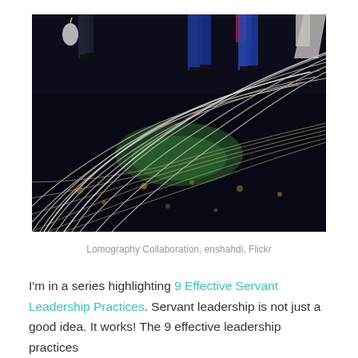[Figure (photo): Long-exposure photograph of people walking on a reflective dark floor with radiating white light streaks and curved lines creating a dynamic pattern. People's legs visible at the top, motion blur effect.]
Lomography Collaboration, enshahdi, Flickr
I'm in a series highlighting 9 Effective Servant Leadership Practices. Servant leadership is not just a good idea. It works! The 9 effective leadership practices